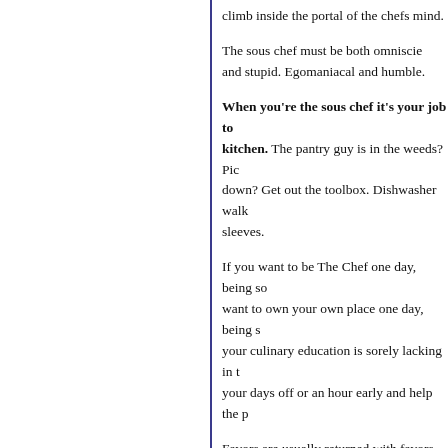climb inside the portal of the chefs mind.
The sous chef must be both omniscient and stupid. Egomaniacal and humble.
When you're the sous chef it's your job to kitchen. The pantry guy is in the weeds? Pick down? Get out the toolbox. Dishwasher walk sleeves.
If you want to be The Chef one day, being so want to own your own place one day, being s your culinary education is sorely lacking in t your days off or an hour early and help the p
Favors are usually returned with favors.
Sous Chef.
Two small words. Monosyllabic. Innocuous.
Well dressed, shirts tucked in. Good haircut.